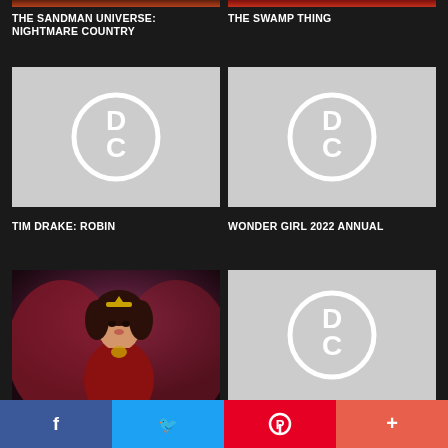[Figure (photo): Cropped top portion of comic book cover images (two side by side, partially visible)]
THE SANDMAN UNIVERSE: NIGHTMARE COUNTRY
THE SWAMP THING
[Figure (logo): DC Comics placeholder cover with DC logo on grey background - Tim Drake: Robin]
[Figure (logo): DC Comics placeholder cover with DC logo on grey background - Wonder Girl 2022 Annual]
TIM DRAKE: ROBIN
WONDER GIRL 2022 ANNUAL
[Figure (photo): Wonder Girl comic book cover art showing female superhero with wings and tiara]
[Figure (logo): DC Comics placeholder cover with partial DC logo visible]
f  Twitter  P  +